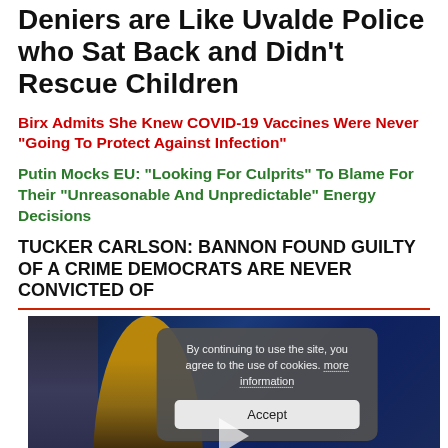Deniers are Like Uvalde Police who Sat Back and Didn't Rescue Children
Birx Admits She Knew COVID-19 Vaccines Were Never "Going To Protect Against Infection"
Putin Mocks EU: "Looking For Culprits" To Blame For Their "Unreasonable And Unpredictable" Energy Decisions
TUCKER CARLSON: BANNON FOUND GUILTY OF A CRIME DEMOCRATS ARE NEVER CONVICTED OF
[Figure (screenshot): Video player screenshot showing a person in front of a blue background with a cookie consent overlay dialog reading 'By continuing to use the site, you agree to the use of cookies. more information' and an Accept button, plus a play button triangle at bottom center.]